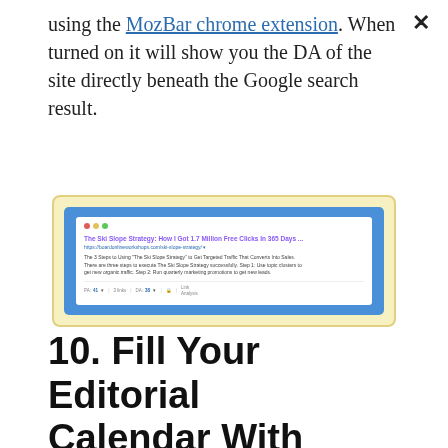using the MozBar chrome extension. When turned on it will show you the DA of the site directly beneath the Google search result.
[Figure (screenshot): Screenshot of a Google search result showing the Ski Slope Strategy article with MozBar extension overlay displaying PA, links, DA, and Link Analysis metrics beneath the search result.]
10. Fill Your Editorial Calendar With Your Prioritized